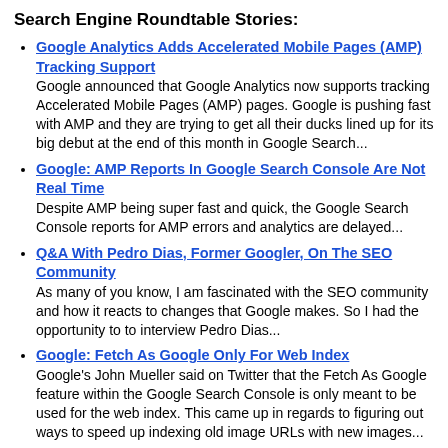Search Engine Roundtable Stories:
Google Analytics Adds Accelerated Mobile Pages (AMP) Tracking Support
Google announced that Google Analytics now supports tracking Accelerated Mobile Pages (AMP) pages. Google is pushing fast with AMP and they are trying to get all their ducks lined up for its big debut at the end of this month in Google Search...
Google: AMP Reports In Google Search Console Are Not Real Time
Despite AMP being super fast and quick, the Google Search Console reports for AMP errors and analytics are delayed...
Q&A With Pedro Dias, Former Googler, On The SEO Community
As many of you know, I am fascinated with the SEO community and how it reacts to changes that Google makes. So I had the opportunity to to interview Pedro Dias...
Google: Fetch As Google Only For Web Index
Google's John Mueller said on Twitter that the Fetch As Google feature within the Google Search Console is only meant to be used for the web index. This came up in regards to figuring out ways to speed up indexing old image URLs with new images...